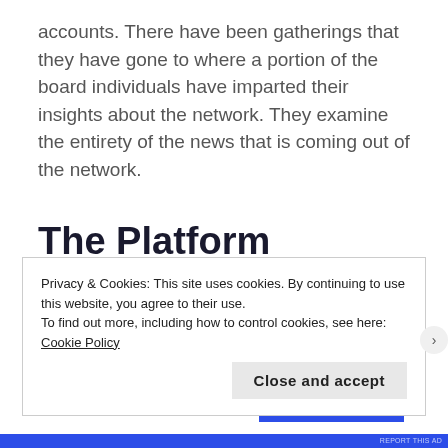accounts. There have been gatherings that they have gone to where a portion of the board individuals have imparted their insights about the network. They examine the entirety of the news that is coming out of the network.
The Platform Where WordPress Works Best
[Figure (screenshot): SEE PRICING button (partially visible, blue background, white text)]
Privacy & Cookies: This site uses cookies. By continuing to use this website, you agree to their use.
To find out more, including how to control cookies, see here: Cookie Policy
Close and accept